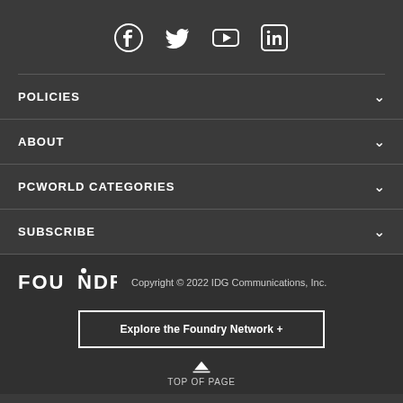[Figure (other): Social media icons row: Facebook, Twitter, YouTube, LinkedIn]
POLICIES
ABOUT
PCWORLD CATEGORIES
SUBSCRIBE
[Figure (logo): FOUNDRY logo with dot over N]
Copyright © 2022 IDG Communications, Inc.
Explore the Foundry Network +
TOP OF PAGE